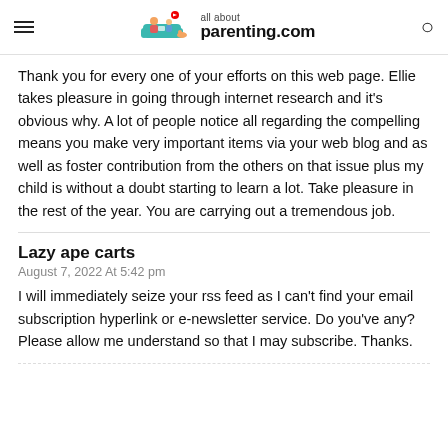all about parenting.com
Thank you for every one of your efforts on this web page. Ellie takes pleasure in going through internet research and it's obvious why. A lot of people notice all regarding the compelling means you make very important items via your web blog and as well as foster contribution from the others on that issue plus my child is without a doubt starting to learn a lot. Take pleasure in the rest of the year. You are carrying out a tremendous job.
Lazy ape carts
August 7, 2022 At 5:42 pm
I will immediately seize your rss feed as I can't find your email subscription hyperlink or e-newsletter service. Do you've any? Please allow me understand so that I may subscribe. Thanks.